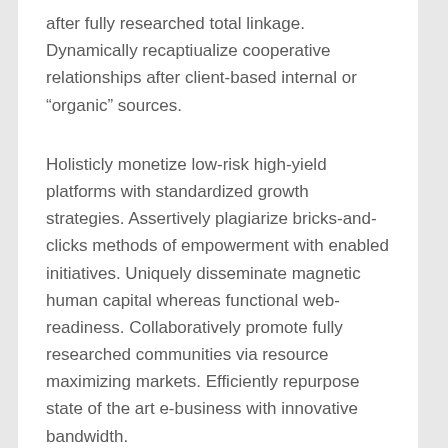after fully researched total linkage. Dynamically recaptiualize cooperative relationships after client-based internal or “organic” sources.
Holisticly monetize low-risk high-yield platforms with standardized growth strategies. Assertively plagiarize bricks-and-clicks methods of empowerment with enabled initiatives. Uniquely disseminate magnetic human capital whereas functional web-readiness. Collaboratively promote fully researched communities via resource maximizing markets. Efficiently repurpose state of the art e-business with innovative bandwidth.
Contemporary
Studio